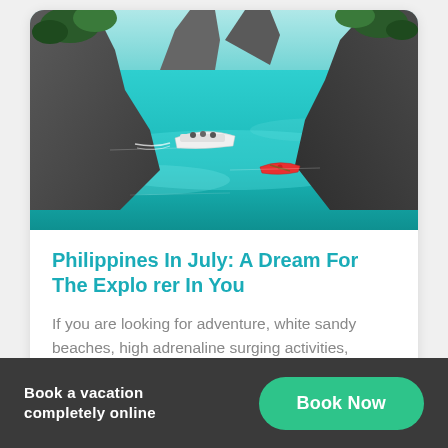[Figure (photo): Aerial view of a turquoise lagoon with limestone cliffs, a white motorboat and a red kayak on the clear water — Philippines coastal scene]
Philippines In July: A Dream For The Explorer In You
If you are looking for adventure, white sandy beaches, high adrenaline surging activities, exploring the…
Book a vacation completely online
Book Now